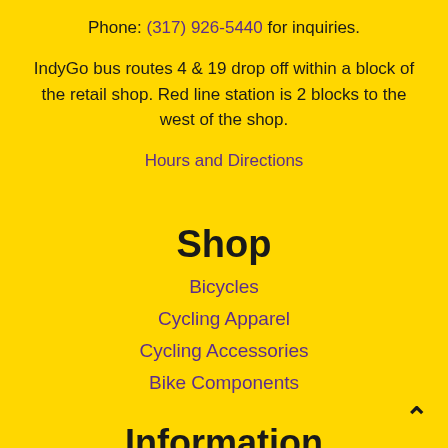Phone: (317) 926-5440 for inquiries.
IndyGo bus routes 4 & 19 drop off within a block of the retail shop. Red line station is 2 blocks to the west of the shop.
Hours and Directions
Shop
Bicycles
Cycling Apparel
Cycling Accessories
Bike Components
Information